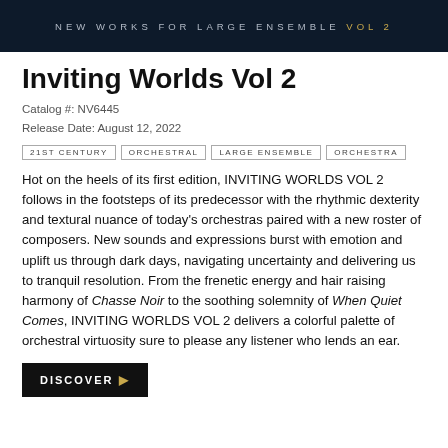NEW WORKS FOR LARGE ENSEMBLE VOL2
Inviting Worlds Vol 2
Catalog #: NV6445
Release Date: August 12, 2022
21ST CENTURY
ORCHESTRAL
LARGE ENSEMBLE
ORCHESTRA
Hot on the heels of its first edition, INVITING WORLDS VOL 2 follows in the footsteps of its predecessor with the rhythmic dexterity and textural nuance of today's orchestras paired with a new roster of composers. New sounds and expressions burst with emotion and uplift us through dark days, navigating uncertainty and delivering us to tranquil resolution. From the frenetic energy and hair raising harmony of Chasse Noir to the soothing solemnity of When Quiet Comes, INVITING WORLDS VOL 2 delivers a colorful palette of orchestral virtuosity sure to please any listener who lends an ear.
DISCOVER